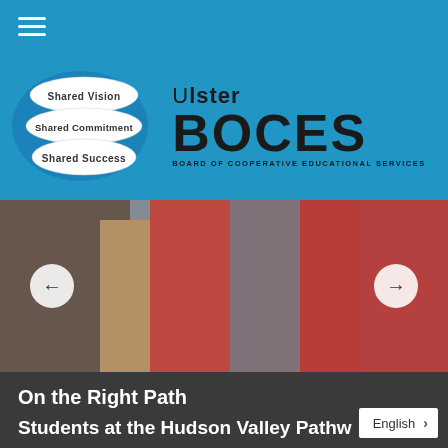Navigation menu
[Figure (logo): Ulster BOCES logo with three overlapping ovals labeled Shared Vision, Shared Commitment, Shared Success, and BOCES text - Board of Cooperative Educational Services]
[Figure (photo): Group photo of students in red shirts smiling with adults, with left and right navigation arrows]
On the Right Path
Students at the Hudson Valley Pathw